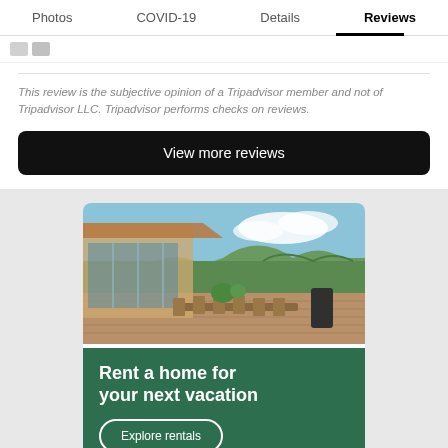Photos  COVID-19  Details  Reviews
This review is the subjective opinion of a Tripadvisor member and not of Tripadvisor LLC. Tripadvisor performs checks on reviews.
View more reviews
[Figure (photo): Outdoor patio of a vacation rental home with a dining table and chairs, mountains and green trees in background, blue sky with clouds. Below the photo is a dark green panel with bold white text 'Rent a home for your next vacation' and a white outline button reading 'Explore rentals'.]
Rent a home for your next vacation
Explore rentals